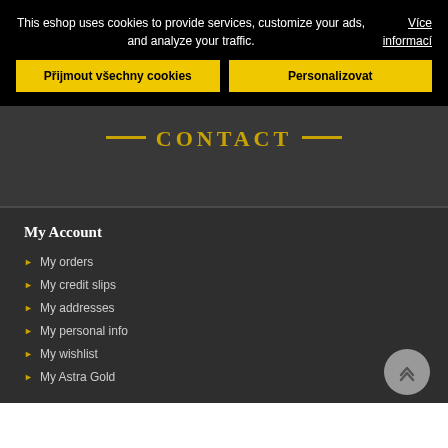This eshop uses cookies to provide services, customize your ads, and analyze your traffic.
Více informací
Přijmout všechny cookies
Personalizovat
CONTACT
My Account
My orders
My credit slips
My addresses
My personal info
My wishlist
My Astra Gold